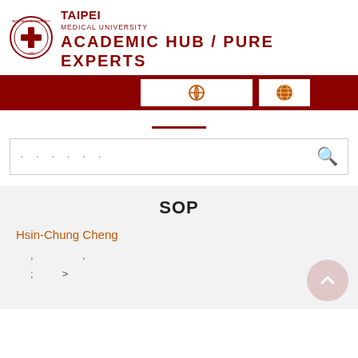[Figure (logo): Taipei Medical University seal/crest logo in dark red]
TAIPEI MEDICAL UNIVERSITY ACADEMIC HUB / PURE EXPERTS
[Figure (screenshot): Navigation bar with dark red background, a white search input button with compass/help icon, and a white globe icon button]
[Figure (other): Horizontal dark red divider line]
[Figure (screenshot): Search input box with placeholder dots and magnifying glass search icon]
SOP
Hsin-Chung Cheng
, ,
; >